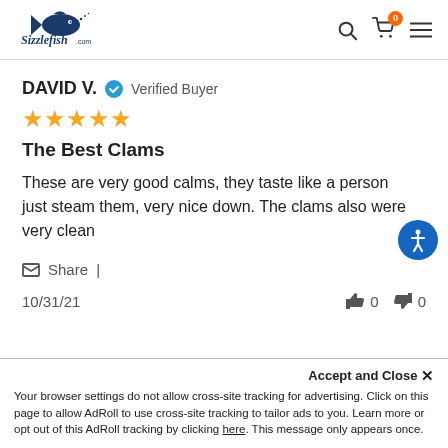[Figure (logo): Sizzlefish.com logo with fish icon, navy blue]
DAVID V. ✓ Verified Buyer
[Figure (other): Five yellow stars rating]
The Best Clams
These are very good calms, they taste like a person just steam them, very nice down. The clams also were very clean
Share |
10/31/21   👍 0   👎 0
Accept and Close ×
Your browser settings do not allow cross-site tracking for advertising. Click on this page to allow AdRoll to use cross-site tracking to tailor ads to you. Learn more or opt out of this AdRoll tracking by clicking here. This message only appears once.